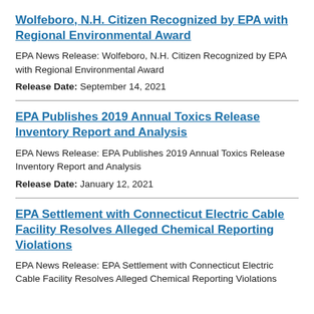Wolfeboro, N.H. Citizen Recognized by EPA with Regional Environmental Award
EPA News Release: Wolfeboro, N.H. Citizen Recognized by EPA with Regional Environmental Award
Release Date: September 14, 2021
EPA Publishes 2019 Annual Toxics Release Inventory Report and Analysis
EPA News Release: EPA Publishes 2019 Annual Toxics Release Inventory Report and Analysis
Release Date: January 12, 2021
EPA Settlement with Connecticut Electric Cable Facility Resolves Alleged Chemical Reporting Violations
EPA News Release: EPA Settlement with Connecticut Electric Cable Facility Resolves Alleged Chemical Reporting Violations